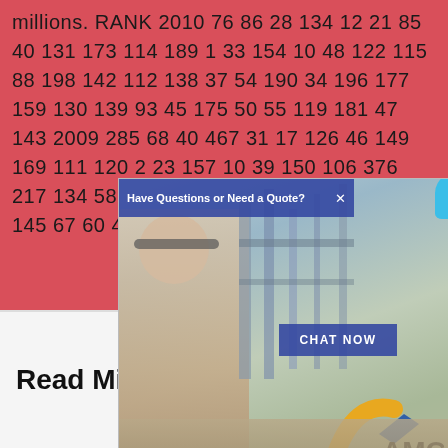millions. RANK 2010 76 86 28 134 12 21 85 40 131 173 114 189 1 33 154 10 48 122 115 88 198 142 112 138 37 54 190 34 196 177 159 130 139 93 45 175 50 55 119 181 47 143 2009 285 68 40 467 31 17 126 46 149 169 111 120 2 23 157 10 39 150 106 376 217 134 58 102 34 38 257 72 194 304 116 145 67 60 48 ...
[Figure (screenshot): Advertisement popup from AMC showing a woman with headset and industrial background, with 'Have Questions or Need a Quote?' header bar, a CHAT NOW button, Live Chat bubble, and AMC logo.]
Read Microsoft Word